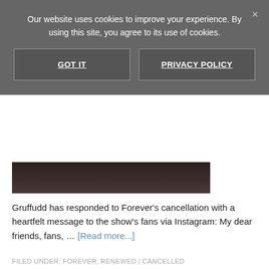Our website uses cookies to improve your experience. By using this site, you agree to its use of cookies.
GOT IT
PRIVACY POLICY
[Figure (photo): Dark image showing a person holding an open book, partially visible]
Gruffudd has responded to Forever's cancellation with a heartfelt message to the show's fans via Instagram: My dear friends, fans, … [Read more...]
FILED UNDER: FOREVER, RENEWED / CANCELLED
TAGGED WITH: FOREVER, FOREVER RENEWED/CANCELLED, IOAN GRUFFUDD